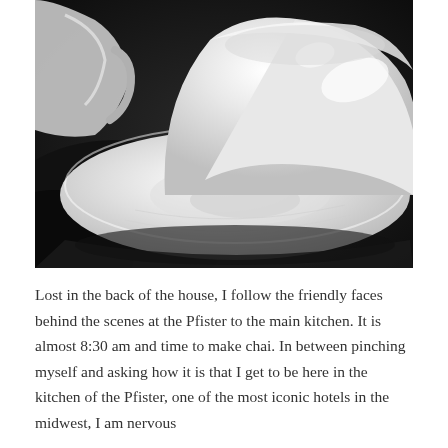[Figure (photo): Black and white close-up photograph of white ceramic teacups and saucers, with soft lighting highlighting the curves and reflections on the porcelain surfaces.]
Lost in the back of the house, I follow the friendly faces behind the scenes at the Pfister to the main kitchen. It is almost 8:30 am and time to make chai. In between pinching myself and asking how it is that I get to be here in the kitchen of the Pfister, one of the most iconic hotels in the midwest, I am nervous